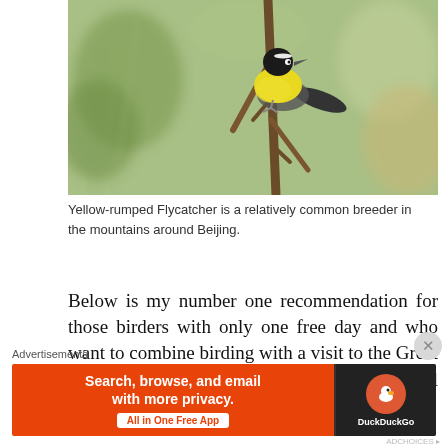[Figure (photo): A Yellow-rumped Flycatcher bird with black head and bright yellow body perched on a brown branch, with blurred green background]
Yellow-rumped Flycatcher is a relatively common breeder in the mountains around Beijing.
Below is my number one recommendation for those birders with only one free day and who want to combine birding with a visit to the Great Wall. After that is a guide to each individual section of the Great Wall...
Advertisements
[Figure (screenshot): DuckDuckGo advertisement banner: 'Search, browse, and email with more privacy. All in One Free App' on orange background with DuckDuckGo logo]